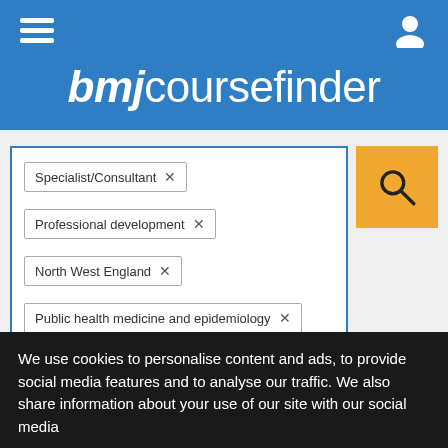bmjcoursefinder
[Figure (screenshot): Search interface with filter tags: Specialist/Consultant, Professional development, North West England, Public health medicine and epidemiology, and a yellow search button]
This course has expired
We use cookies to personalise content and ads, to provide social media features and to analyse our traffic. We also share information about your use of our site with our social media